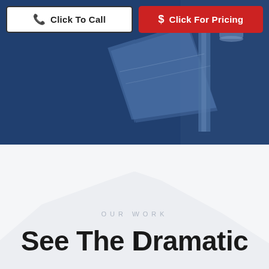[Figure (photo): Blue-tinted hero photo showing a roofing/gutter close-up with damaged or weathered materials, overlaid with blue tint]
Click To Call
Click For Pricing
OUR WORK
See The Dramatic